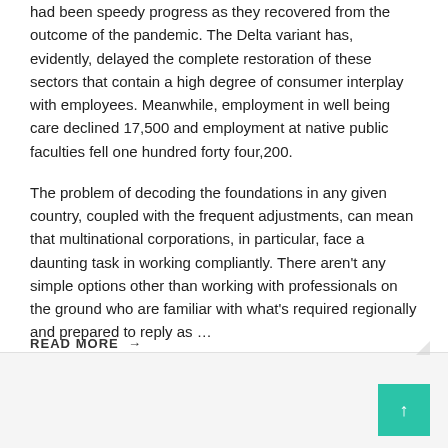had been speedy progress as they recovered from the outcome of the pandemic. The Delta variant has, evidently, delayed the complete restoration of these sectors that contain a high degree of consumer interplay with employees. Meanwhile, employment in well being care declined 17,500 and employment at native public faculties fell one hundred forty four,200.

The problem of decoding the foundations in any given country, coupled with the frequent adjustments, can mean that multinational corporations, in particular, face a daunting task in working compliantly. There aren't any simple options other than working with professionals on the ground who are familiar with what's required regionally and prepared to reply as …
READ MORE →